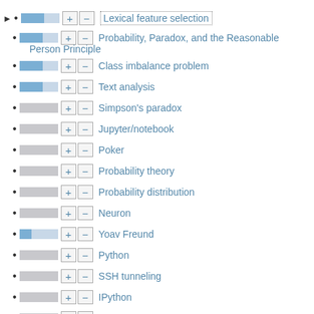Lexical feature selection
Probability, Paradox, and the Reasonable Person Principle
Class imbalance problem
Text analysis
Simpson's paradox
Jupyter/notebook
Poker
Probability theory
Probability distribution
Neuron
Yoav Freund
Python
SSH tunneling
IPython
Data science